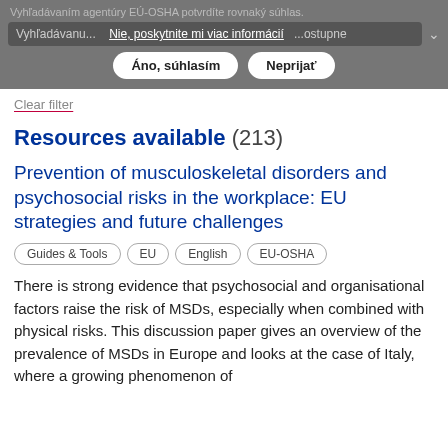Vyhľadávaniu... Nie, poskytnite mi viac informácií ...ostupne  Áno, súhlasím  Neprijať
Clear filter
Resources available (213)
Prevention of musculoskeletal disorders and psychosocial risks in the workplace: EU strategies and future challenges
Guides & Tools
EU
English
EU-OSHA
There is strong evidence that psychosocial and organisational factors raise the risk of MSDs, especially when combined with physical risks. This discussion paper gives an overview of the prevalence of MSDs in Europe and looks at the case of Italy, where a growing phenomenon of